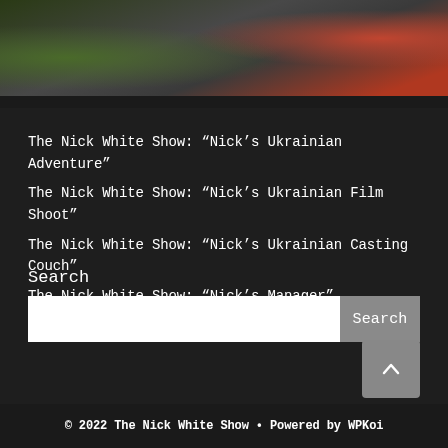[Figure (photo): Partial photo at top of page showing green foliage on left and reddish/orange tones on right, with a dark grey box overlay in upper right area.]
The Nick White Show: “Nick’s Ukrainian Adventure”
The Nick White Show: “Nick’s Ukrainian Film Shoot”
The Nick White Show: “Nick’s Ukrainian Casting Couch”
The Nick White Show: “Nick’s Manager”
The Nick White Show: “Paris’ Perfume”
Search
© 2022 The Nick White Show • Powered by WPKoi